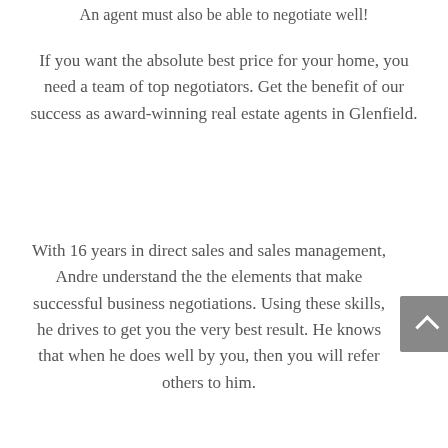An agent must also be able to negotiate well!
If you want the absolute best price for your home, you need a team of top negotiators. Get the benefit of our success as award-winning real estate agents in Glenfield.
With 16 years in direct sales and sales management, Andre understand the the elements that make successful business negotiations. Using these skills, he drives to get you the very best result. He knows that when he does well by you, then you will refer others to him.